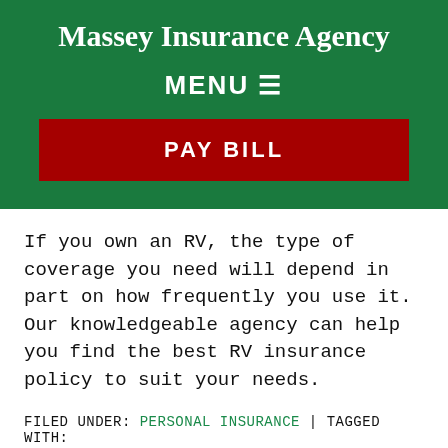Massey Insurance Agency
MENU ☰
PAY BILL
If you own an RV, the type of coverage you need will depend in part on how frequently you use it. Our knowledgeable agency can help you find the best RV insurance policy to suit your needs.
FILED UNDER: PERSONAL INSURANCE | TAGGED WITH: